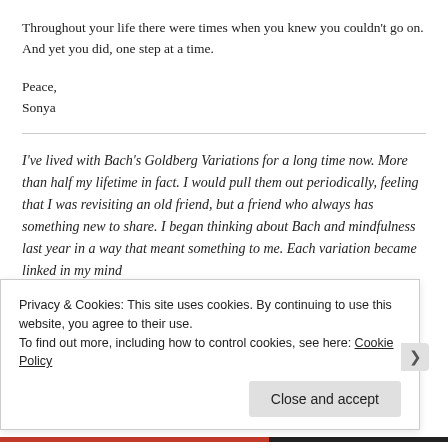Throughout your life there were times when you knew you couldn't go on. And yet you did, one step at a time.
Peace,
Sonya
I've lived with Bach's Goldberg Variations for a long time now. More than half my lifetime in fact. I would pull them out periodically, feeling that I was revisiting an old friend, but a friend who always has something new to share. I began thinking about Bach and mindfulness last year in a way that meant something to me. Each variation became linked in my mind with a word and that word became something like the "intention" that...
Privacy & Cookies: This site uses cookies. By continuing to use this website, you agree to their use.
To find out more, including how to control cookies, see here: Cookie Policy
Close and accept